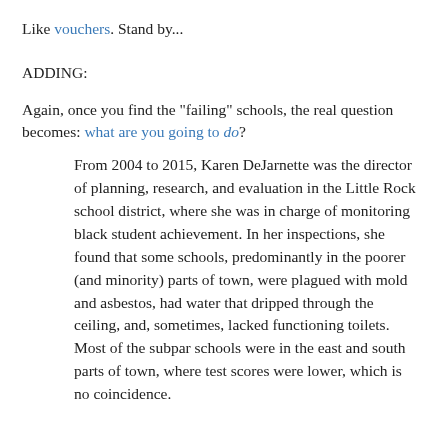Like vouchers. Stand by...
ADDING:
Again, once you find the "failing" schools, the real question becomes: what are you going to do?
From 2004 to 2015, Karen DeJarnette was the director of planning, research, and evaluation in the Little Rock school district, where she was in charge of monitoring black student achievement. In her inspections, she found that some schools, predominantly in the poorer (and minority) parts of town, were plagued with mold and asbestos, had water that dripped through the ceiling, and, sometimes, lacked functioning toilets. Most of the subpar schools were in the east and south parts of town, where test scores were lower, which is no coincidence.